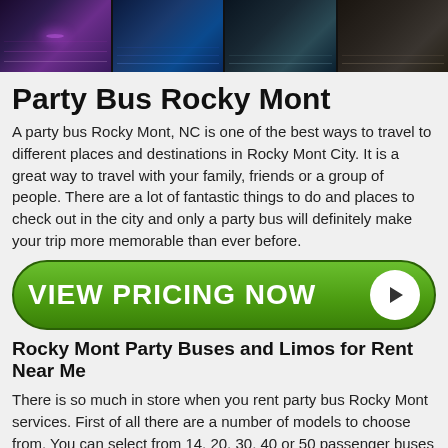[Figure (photo): Four thumbnail photos of party bus interiors showing ambient lighting and seating]
Party Bus Rocky Mont
A party bus Rocky Mont, NC is one of the best ways to travel to different places and destinations in Rocky Mont City. It is a great way to travel with your family, friends or a group of people. There are a lot of fantastic things to do and places to check out in the city and only a party bus will definitely make your trip more memorable than ever before.
[Figure (other): Green CTA button reading VIEW PRICING NOW with play arrow icon]
Rocky Mont Party Buses and Limos for Rent Near Me
There is so much in store when you rent party bus Rocky Mont services. First of all there are a number of models to choose from. You can select from 14, 20, 30, 40 or 50 passenger buses or choose from shuttle services, motor coaches and huge charter buses for larger groups of people. From New Bern to Winston Salem, we have the best rides.
When it comes to limo services Rocky Mont also has a variety of